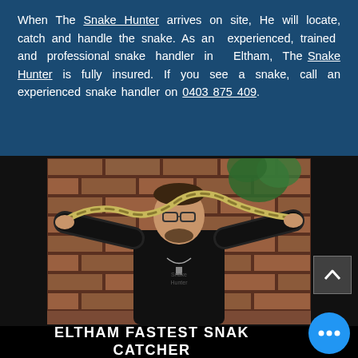When The Snake Hunter arrives on site, He will locate, catch and handle the snake. As an experienced, trained and professional snake handler in Eltham, The Snake Hunter is fully insured. If you see a snake, call an experienced snake handler on 0403 875 409.
[Figure (photo): A man in a black t-shirt holding a snake above his head with both arms outstretched, standing in front of a brick wall with green plants visible. The man wears glasses and has a beard.]
ELTHAM FASTEST SNAKE CATCHER